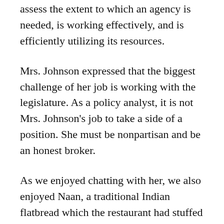Texas Sunset Advisory Commission works to assess the extent to which an agency is needed, is working effectively, and is efficiently utilizing its resources.
Mrs. Johnson expressed that the biggest challenge of her job is working with the legislature. As a policy analyst, it is not Mrs. Johnson's job to take a side of a position. She must be nonpartisan and be an honest broker.
As we enjoyed chatting with her, we also enjoyed Naan, a traditional Indian flatbread which the restaurant had stuffed with different fillings. These fillings included garlic and herb, three cheese, and jalapeno and cream cheese.